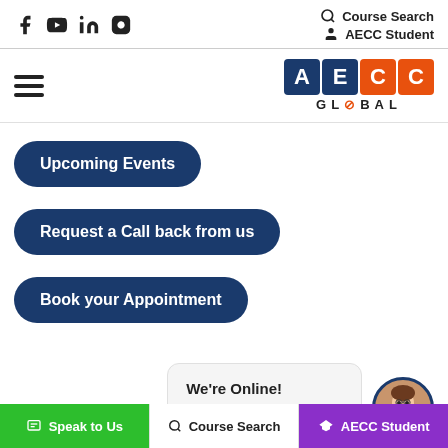Social icons: Facebook, YouTube, LinkedIn, Instagram | Course Search | AECC Student
[Figure (logo): AECC Global logo with colored letter boxes and GLOBAL text below]
Upcoming Events
Request a Call back from us
Book your Appointment
We're Online! How may I help you today?
Speak to Us | Course Search | AECC Student